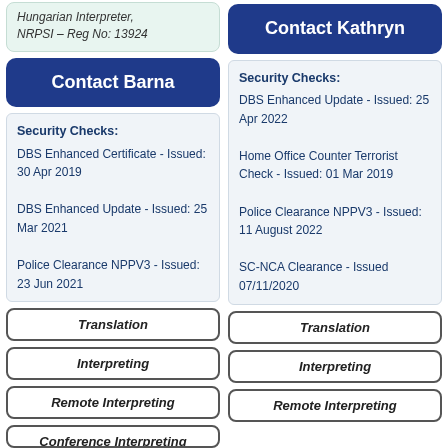Hungarian Interpreter, NRPSI – Reg No: 13924
Contact Barna
Security Checks: DBS Enhanced Certificate - Issued: 30 Apr 2019 DBS Enhanced Update - Issued: 25 Mar 2021 Police Clearance NPPV3 - Issued: 23 Jun 2021
Translation
Interpreting
Remote Interpreting
Conference Interpreting
Contact Kathryn
Security Checks: DBS Enhanced Update - Issued: 25 Apr 2022 Home Office Counter Terrorist Check - Issued: 01 Mar 2019 Police Clearance NPPV3 - Issued: 11 August 2022 SC-NCA Clearance - Issued 07/11/2020
Translation
Interpreting
Remote Interpreting